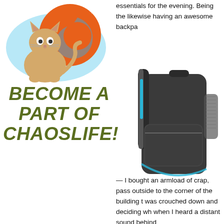[Figure (illustration): Cartoon cat sitting in front of an orange circular logo/emblem with sparkle effects, light blue background circle]
essentials for the evening. Being the likewise having an awesome backpa
[Figure (photo): Photo of a dark grey/black backpack with blue accents and mesh side pocket]
— I bought an armload of crap, pass outside to the corner of the building t was crouched down and deciding wh when I heard a distant sound behind